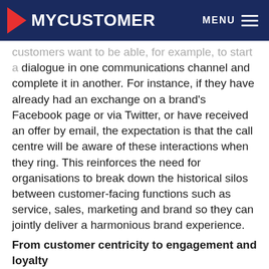MYCUSTOMER   MENU
customers want to be able, for example, to start a dialogue in one communications channel and complete it in another. For instance, if they have already had an exchange on a brand's Facebook page or via Twitter, or have received an offer by email, the expectation is that the call centre will be aware of these interactions when they ring. This reinforces the need for organisations to break down the historical silos between customer-facing functions such as service, sales, marketing and brand so they can jointly deliver a harmonious brand experience.
From customer centricity to engagement and loyalty
The old adage of 'the customer is king' has never